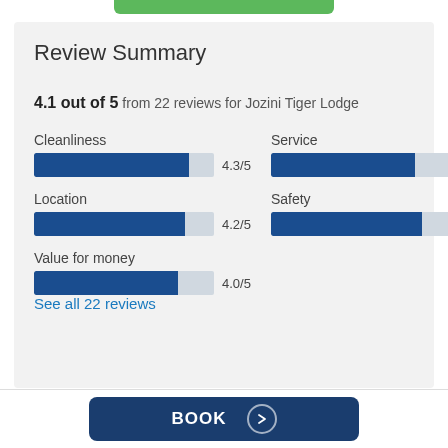Review Summary
4.1 out of 5 from 22 reviews for Jozini Tiger Lodge
[Figure (bar-chart): Review category scores]
See all 22 reviews